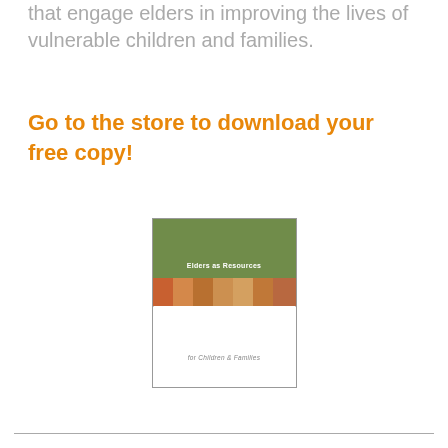that engage elders in improving the lives of vulnerable children and families.
Go to the store to download your free copy!
[Figure (illustration): Book cover for 'Elders as Resources for Children & Families' — green cover with a photo strip of diverse elderly people with children and a white lower section with subtitle text.]